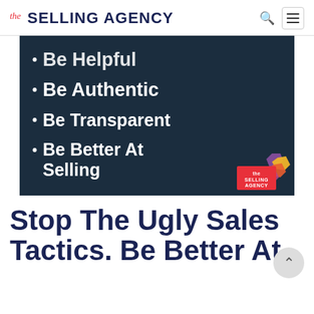the SELLING AGENCY
[Figure (illustration): Dark teal/navy background slide with white bold bullet points: Be Helpful, Be Authentic, Be Transparent, Be Better At Selling. The Selling Agency logo in bottom right corner.]
Stop The Ugly Sales Tactics. Be Better At